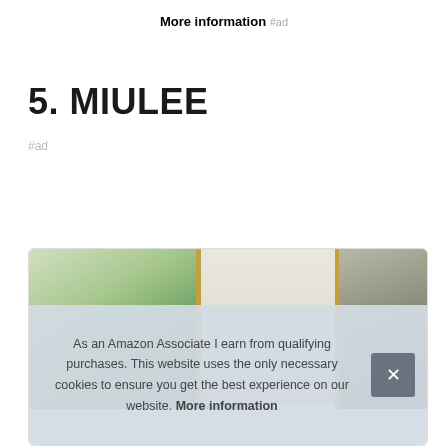More information #ad
5. MIULEE
#ad
[Figure (photo): Product card showing a decorative home scene with green olive branch plant, a gold-framed mirror, and a framed nature art print on the right]
As an Amazon Associate I earn from qualifying purchases. This website uses the only necessary cookies to ensure you get the best experience on our website. More information